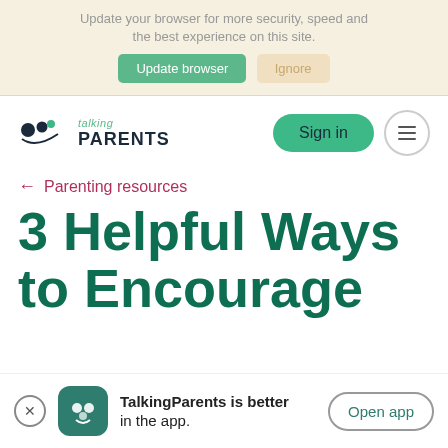Update your browser for more security, speed and the best experience on this site. Update browser | Ignore
[Figure (logo): TalkingParents logo with two parent figures and child icon, teal/dark colors]
Sign in
← Parenting resources
3 Helpful Ways to Encourage
TalkingParents is better in the app. Open app